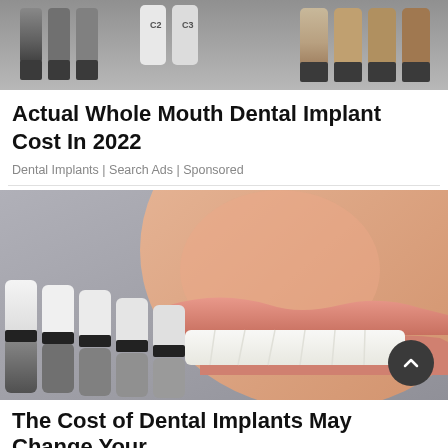[Figure (photo): Close-up photo of dental shade guide tabs showing color swatches labeled C2, C3 and others against a gray background]
Actual Whole Mouth Dental Implant Cost In 2022
Dental Implants | Search Ads | Sponsored
[Figure (photo): Close-up photo of a smiling woman with bright white teeth, alongside a dental shade guide showing white and gray tooth color swatches. A scroll-up button is visible in the bottom right corner.]
The Cost of Dental Implants May Change Your